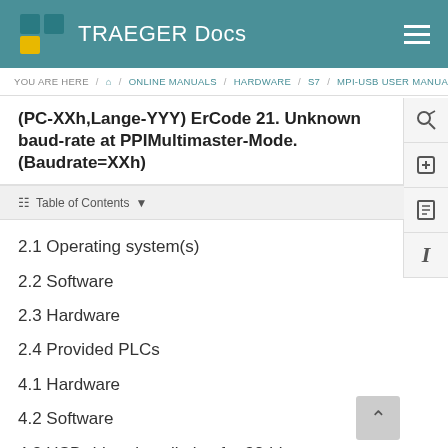TRAEGER Docs
YOU ARE HERE / Home / ONLINE MANUALS / HARDWARE / S7 / MPI-USB USER MANUAL
(PC-XXh,Lange-YYY) ErCode 21. Unknown baud-rate at PPIMultimaster-Mode. (Baudrate=XXh)
2.1 Operating system(s)
2.2 Software
2.3 Hardware
2.4 Provided PLCs
4.1 Hardware
4.2 Software
4.3 USB-driver-installation for 32-bit-systems
4.4 USB-driver-installation for Win7 64-bit
5.1 Keys
5.2 Display